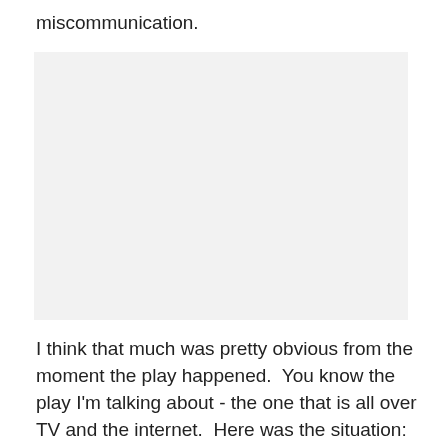miscommunication.
[Figure (photo): A blank or image placeholder area occupying the middle section of the page.]
I think that much was pretty obvious from the moment the play happened.  You know the play I'm talking about - the one that is all over TV and the internet.  Here was the situation: the Colts were down six points, and while the Patriots clearly had the